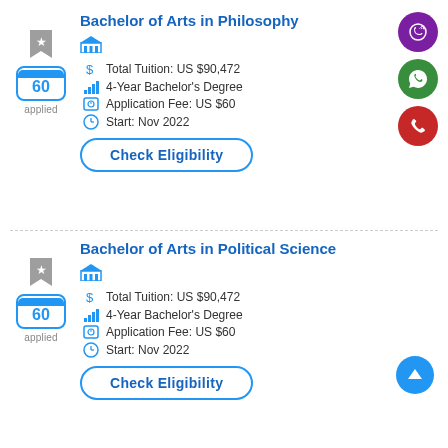Bachelor of Arts in Philosophy
Total Tuition: US $90,472
4-Year Bachelor's Degree
Application Fee: US $60
Start: Nov 2022
Bachelor of Arts in Political Science
Total Tuition: US $90,472
4-Year Bachelor's Degree
Application Fee: US $60
Start: Nov 2022